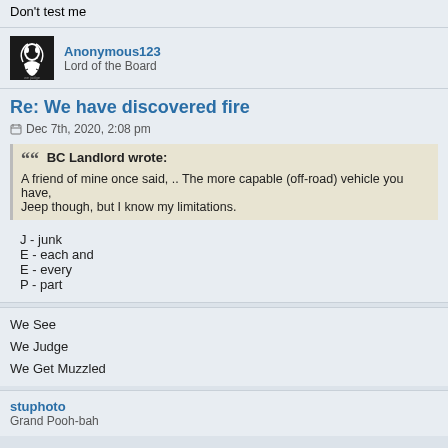Don't test me
Anonymous123
Lord of the Board
Re: We have discovered fire
Dec 7th, 2020, 2:08 pm
BC Landlord wrote:
A friend of mine once said, .. The more capable (off-road) vehicle you have, Jeep though, but I know my limitations.
J - junk
E - each and
E - every
P - part
We See
We Judge
We Get Muzzled
stuphoto
Grand Pooh-bah